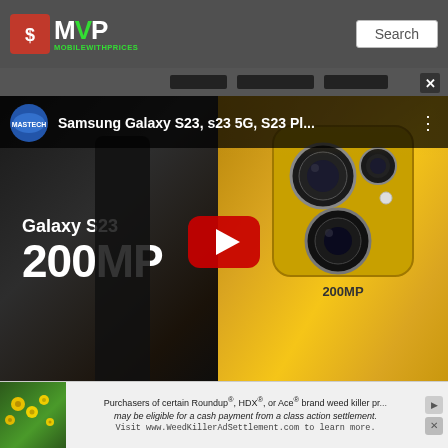MVP MobileWithPrices — Search
[Figure (screenshot): YouTube video thumbnail showing Samsung Galaxy S23 with 200MP camera, gold color. Video title: 'Samsung Galaxy S23, s23 5G, S23 Pl...' by MASTECH channel. Large red play button in center. Left side shows 'Galaxy S23' and '200MP' text on dark background. Right side shows gold phone back with triple camera array labeled 200MP.]
| Category | Spec | Value |
| --- | --- | --- |
| DISPLAY |  |  |
|  | Size | 11.0 inches |
[Figure (screenshot): Ad banner: Yellow flowers on left, text about Roundup, HDX, Ace brand weed killer class action settlement. Visit WeedKillerAdSettlement.com to learn more.]